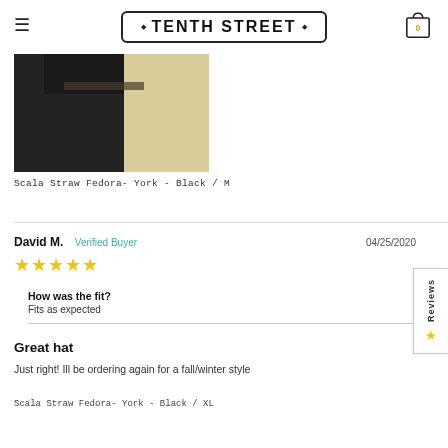TENTH STREET
[Figure (photo): Product photo showing a person wearing a black straw fedora hat, viewed from behind/side, against a light background.]
Scala Straw Fedora- York - Black / M
David M.  Verified Buyer  04/25/2020
★★★★★
How was the fit?
Fits as expected
Great hat
Just right! Ill be ordering again for a fall/winter style
Scala Straw Fedora- York - Black / XL